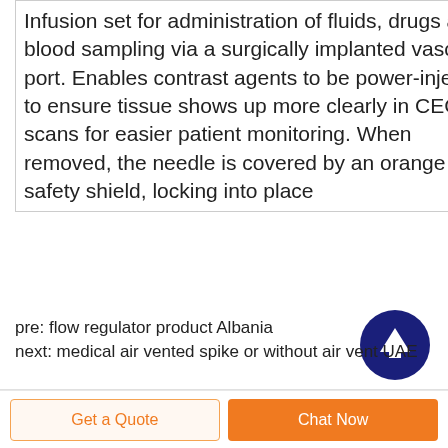Infusion set for administration of fluids, drugs and blood sampling via a surgically implanted vascular port. Enables contrast agents to be power-injected to ensure tissue shows up more clearly in CECT scans for easier patient monitoring. When removed, the needle is covered by an orange safety shield, locking into place
[Figure (illustration): Dark navy blue circular button with a white upward arrow icon in the center, used as a scroll-to-top button]
pre: flow regulator product Albania
next: medical air vented spike or without air vent UAE
Get a Quote
Chat Now